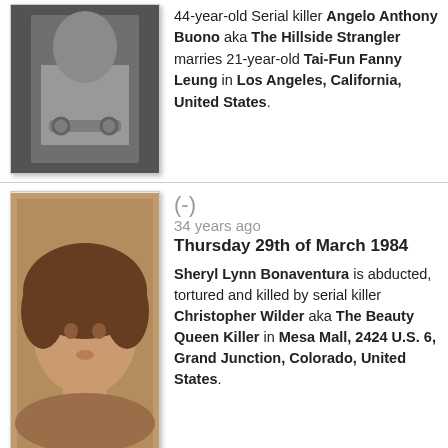[Figure (photo): Black and white photo of a man in handcuffs, Angelo Anthony Buono]
44-year-old Serial killer Angelo Anthony Buono aka The Hillside Strangler marries 21-year-old Tai-Fun Fanny Leung in Los Angeles, California, United States.
[Figure (photo): Sepia-toned portrait photo of a young woman with curly hair, Sheryl Lynn Bonaventura]
(-)
34 years ago
Thursday 29th of March 1984
Sheryl Lynn Bonaventura is abducted, tortured and killed by serial killer Christopher Wilder aka The Beauty Queen Killer in Mesa Mall, 2424 U.S. 6, Grand Junction, Colorado, United States.
(-)
33 years ago
Friday 29th of March 1985
Singer-songwriter Jeanine Deckers aka Sœur Sourire aka The Singing